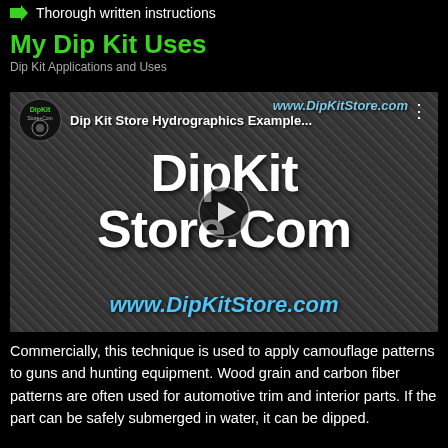Thorough written instructions
My Dip Kit Uses
Dip Kit Applications and Uses
[Figure (screenshot): Video thumbnail for 'Dip Kit Store Hydrographics Example...' showing DipKit Store.Com branding on a woven carbon fiber texture background with a play button in the center and www.DipKitStore.com text at the bottom in blue.]
Commercially, this technique is used to apply camouflage patterns to guns and hunting equipment. Wood grain and carbon fiber patterns are often used for automotive trim and interior parts. If the part can be safely submerged in water, it can be dipped.